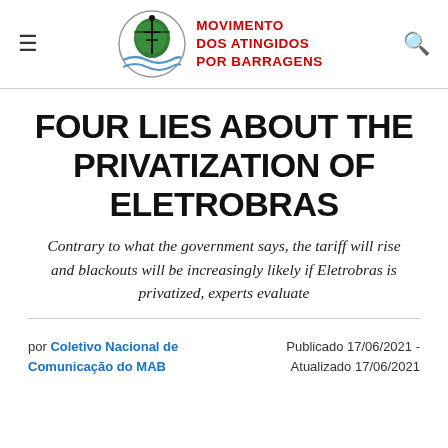Movimento dos Atingidos por Barragens
FOUR LIES ABOUT THE PRIVATIZATION OF ELETROBRAS
Contrary to what the government says, the tariff will rise and blackouts will be increasingly likely if Eletrobras is privatized, experts evaluate
por Coletivo Nacional de Comunicação do MAB   Publicado 17/06/2021 - Atualizado 17/06/2021